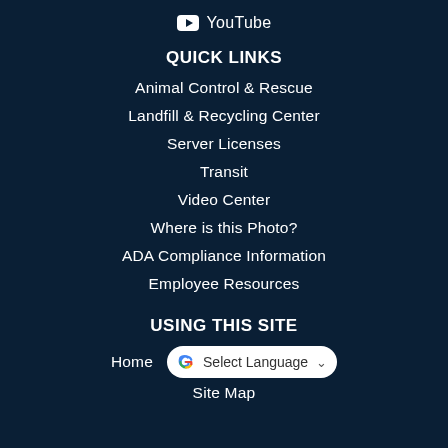YouTube
QUICK LINKS
Animal Control & Rescue
Landfill & Recycling Center
Server Licenses
Transit
Video Center
Where is this Photo?
ADA Compliance Information
Employee Resources
USING THIS SITE
Home
Site Map